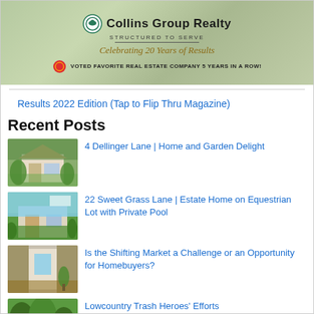[Figure (logo): Collins Group Realty banner with logo, 'Structured to Serve', 'Celebrating 20 Years of Results', and 'Voted Favorite Real Estate Company 5 Years in a Row!']
Results 2022 Edition (Tap to Flip Thru Magazine)
Recent Posts
4 Dellinger Lane | Home and Garden Delight
22 Sweet Grass Lane | Estate Home on Equestrian Lot with Private Pool
Is the Shifting Market a Challenge or an Opportunity for Homebuyers?
Lowcountry Trash Heroes' Efforts